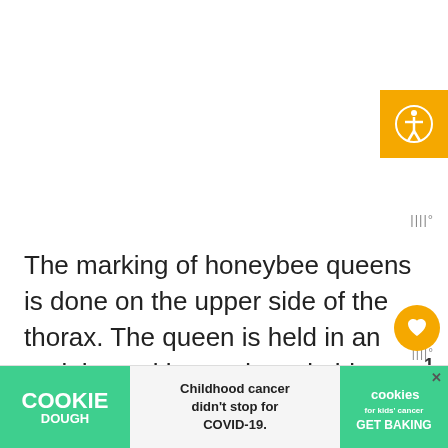[Figure (other): Accessibility icon button (orange/yellow background with white human figure icon) in top-right corner]
IIII°
The marking of honeybee queens is done on the upper side of the thorax. The queen is held in an upright position and a suitable marker used on her body. Pick the queen by her wings or thorax. She is a large insect so be careful not to press down on her too much. Just be firm. The selected marker sh...
[Figure (other): Orange heart/like button (circular, orange background)]
1
[Figure (other): Share button (circular, white background with share icon)]
[Figure (other): Chat/message button (teal circular button with chat icon)]
[Figure (other): What's Next panel showing honeybee image thumbnail and text 'What Do Honeybees...']
[Figure (other): Advertisement banner: Cookie Dough - Childhood cancer didn't stop for COVID-19. cookies for kids cancer GET BAKING]
IIII°